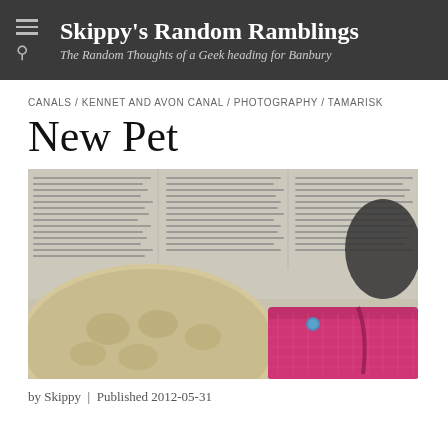Skippy's Random Ramblings — The Random Thoughts of a Geek heading for Banbury
CANALS / KENNET AND AVON CANAL / PHOTOGRAPHY / TAMARISK
New Pet
[Figure (photo): Close-up photo of what appears to be a small pet (likely a tortoise or similar reptile) resting on a newspaper, with a bright pink towel or cloth visible beneath it.]
by Skippy  |  Published 2012-05-31